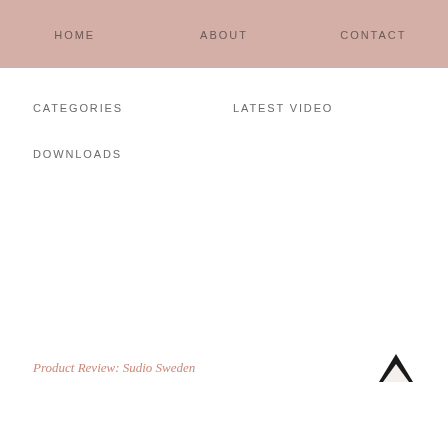HOME   ABOUT   CONTACT
CATEGORIES   LATEST VIDEO
DOWNLOADS
Product Review: Sudio Sweden